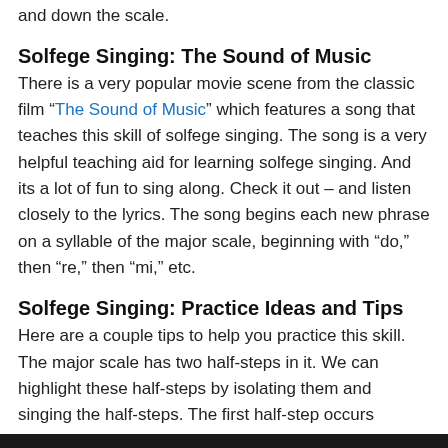and down the scale.
Solfege Singing: The Sound of Music
There is a very popular movie scene from the classic film “The Sound of Music” which features a song that teaches this skill of solfege singing. The song is a very helpful teaching aid for learning solfege singing. And its a lot of fun to sing along. Check it out – and listen closely to the lyrics. The song begins each new phrase on a syllable of the major scale, beginning with “do,” then “re,” then “mi,” etc.
Solfege Singing: Practice Ideas and Tips
Here are a couple tips to help you practice this skill. The major scale has two half-steps in it. We can highlight these half-steps by isolating them and singing the half-steps. The first half-step occurs between “mi” and “fa.” So let’s practice an exercise in which we sing up to “mi” and practice moving by half-step up to “fa” and back to “mi.”